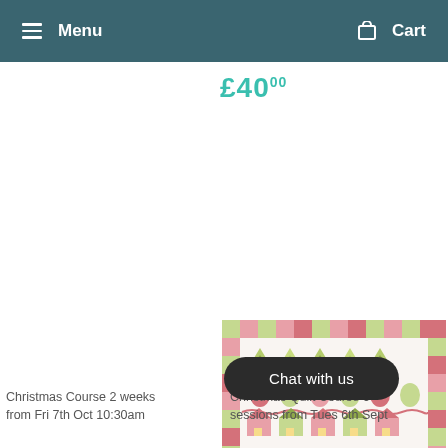Menu   Cart
£40.00
[Figure (photo): Christmas quilt product image showing a decorative quilt with Christmas trees, ornaments, houses, pinwheels, and presents in red, green, and pink fabrics with a patterned border]
Chat with us
Christmas Course 2 weeks from Fri 7th Oct 10:30am
Christmas Quilt Course 6 sessions from Tues 6th Sept